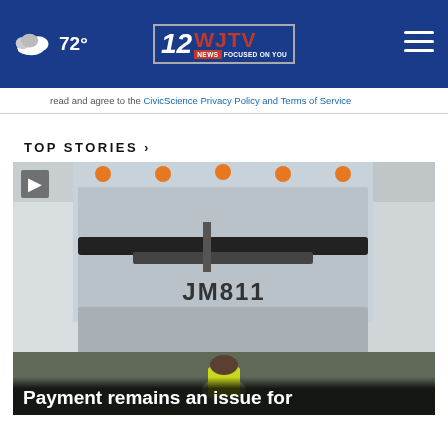72° WJTV 12 News Focused On You
read and agree to the CivicScience Privacy Policy and Terms of Service
TOP STORIES ›
[Figure (photo): A garbage truck with identifier JM811, worker in yellow safety vest bending down near the rear of the truck. Video play button visible in top left corner.]
Payment remains an issue for